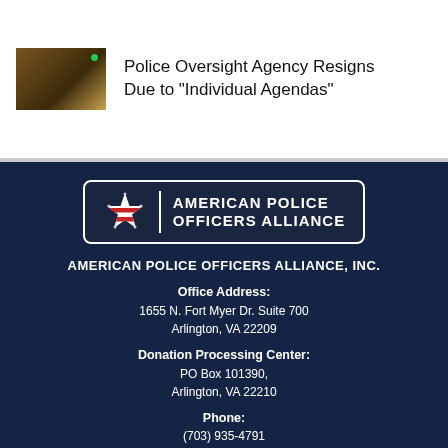[Figure (photo): Small thumbnail photo with dark brownish tones, likely showing a police/oversight meeting setting with a green indicator dot]
Police Oversight Agency Resigns Due to “Individual Agendas”
[Figure (logo): American Police Officers Alliance logo: dark box with white star icon on left, vertical divider, bold white text reading AMERICAN POLICE OFFICERS ALLIANCE on right]
AMERICAN POLICE OFFICERS ALLIANCE, INC.
Office Address:
1655 N. Fort Myer Dr. Suite 700
Arlington, VA 22209
Donation Processing Center:
PO Box 101390,
Arlington, VA 22210
Phone:
(703) 935-4791
[Figure (other): Row of four social media icons: Facebook (f), Twitter (bird/y), YouTube (play button), LinkedIn (in)]